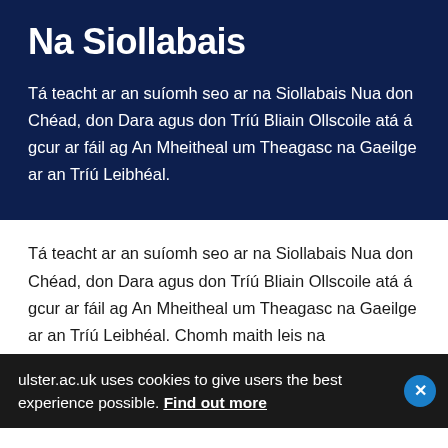Na Siollabais
Tá teacht ar an suíomh seo ar na Siollabais Nua don Chéad, don Dara agus don Tríú Bliain Ollscoile atá á gcur ar fáil ag An Mheitheal um Theagasc na Gaeilge ar an Tríú Leibhéal.
Tá teacht ar an suíomh seo ar na Siollabais Nua don Chéad, don Dara agus don Tríú Bliain Ollscoile atá á gcur ar fáil ag An Mheitheal um Theagasc na Gaeilge ar an Tríú Leibhéal. Chomh maith leis na
ulster.ac.uk uses cookies to give users the best experience possible. Find out more